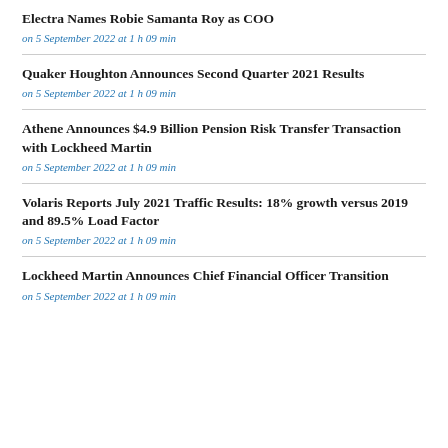Electra Names Robie Samanta Roy as COO
on 5 September 2022 at 1 h 09 min
Quaker Houghton Announces Second Quarter 2021 Results
on 5 September 2022 at 1 h 09 min
Athene Announces $4.9 Billion Pension Risk Transfer Transaction with Lockheed Martin
on 5 September 2022 at 1 h 09 min
Volaris Reports July 2021 Traffic Results: 18% growth versus 2019 and 89.5% Load Factor
on 5 September 2022 at 1 h 09 min
Lockheed Martin Announces Chief Financial Officer Transition
on 5 September 2022 at 1 h 09 min